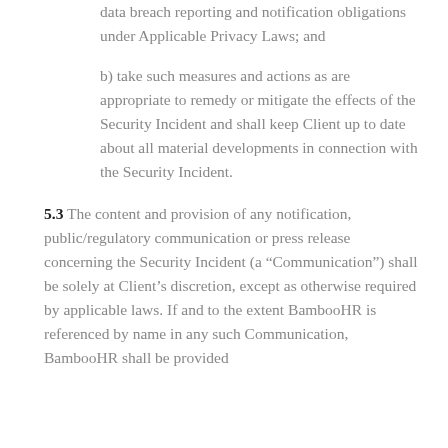data breach reporting and notification obligations under Applicable Privacy Laws; and
b) take such measures and actions as are appropriate to remedy or mitigate the effects of the Security Incident and shall keep Client up to date about all material developments in connection with the Security Incident.
5.3 The content and provision of any notification, public/regulatory communication or press release concerning the Security Incident (a “Communication”) shall be solely at Client’s discretion, except as otherwise required by applicable laws. If and to the extent BambooHR is referenced by name in any such Communication, BambooHR shall be provided